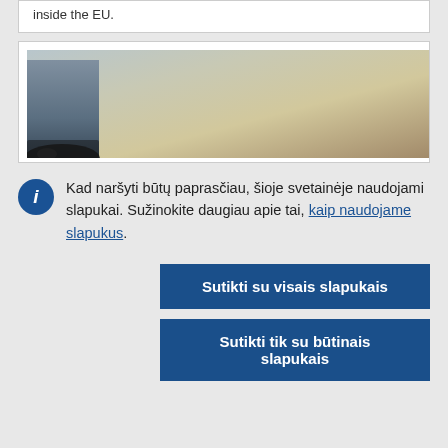inside the EU.
[Figure (photo): Photo of person wearing jeans and beaded ankle bracelet standing on sandy/gravelly ground]
Kad naršyti būtų paprasčiau, šioje svetainėje naudojami slapukai. Sužinokite daugiau apie tai, kaip naudojame slapukus.
Sutikti su visais slapukais
Sutikti tik su būtinais slapukais